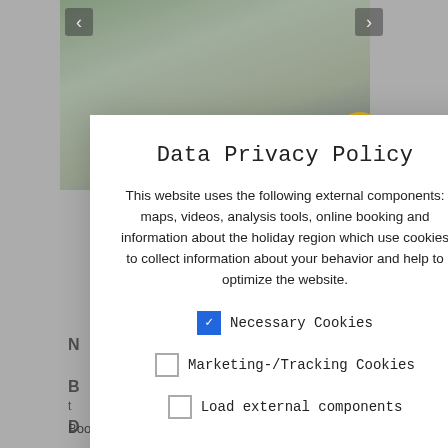[Figure (screenshot): Background web page screenshot showing a travel/holiday booking website with a photo of people at top, partial text content, and a Details button]
Data Privacy Policy
This website uses the following external components: maps, videos, analysis tools, online booking and information about the holiday region which use cookies to collect information about your behavior and help to optimize the website.
✓ Necessary Cookies
☐ Marketing-/Tracking Cookies
☐ Load external components
More details
Confirm selection
Booking policies >